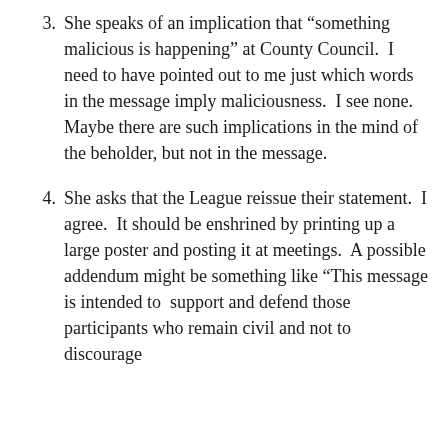3. She speaks of an implication that “something malicious is happening” at County Council.  I need to have pointed out to me just which words in the message imply maliciousness.  I see none.  Maybe there are such implications in the mind of the beholder, but not in the message.
4. She asks that the League reissue their statement.  I agree.  It should be enshrined by printing up a large poster and posting it at meetings.  A possible addendum might be something like “This message is intended to  support and defend those participants who remain civil and not to discourage